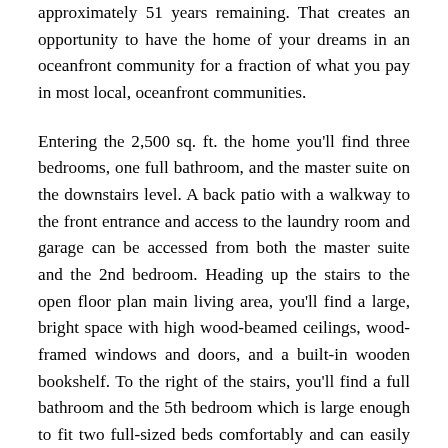approximately 51 years remaining. That creates an opportunity to have the home of your dreams in an oceanfront community for a fraction of what you pay in most local, oceanfront communities.
Entering the 2,500 sq. ft. the home you'll find three bedrooms, one full bathroom, and the master suite on the downstairs level. A back patio with a walkway to the front entrance and access to the laundry room and garage can be accessed from both the master suite and the 2nd bedroom. Heading up the stairs to the open floor plan main living area, you'll find a large, bright space with high wood-beamed ceilings, wood-framed windows and doors, and a built-in wooden bookshelf. To the right of the stairs, you'll find a full bathroom and the 5th bedroom which is large enough to fit two full-sized beds comfortably and can easily be converted into a home office or playroom. The large kitchen is a